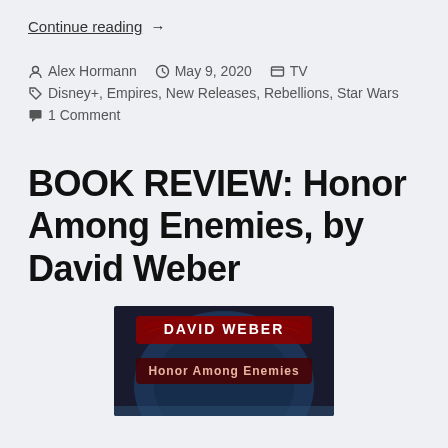Continue reading →
Alex Hormann   May 9, 2020   TV
Disney+, Empires, New Releases, Rebellions, Star Wars
1 Comment
BOOK REVIEW: Honor Among Enemies, by David Weber
[Figure (photo): Book cover of 'Honor Among Enemies' by David Weber, showing the author name 'DAVID WEBER' at top and title 'Honor Among Enemies' below it on a dark background with a circular design.]